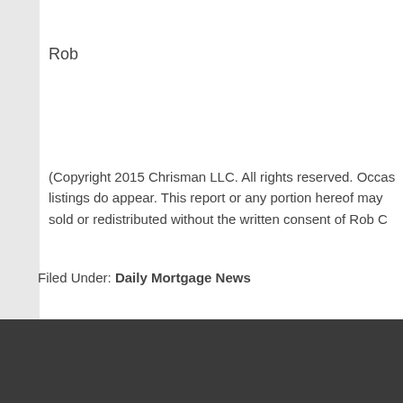Rob
(Copyright 2015 Chrisman LLC. All rights reserved. Occasional paid job listings do appear. This report or any portion hereof may not be reproduced, sold or redistributed without the written consent of Rob C
Filed Under: Daily Mortgage News